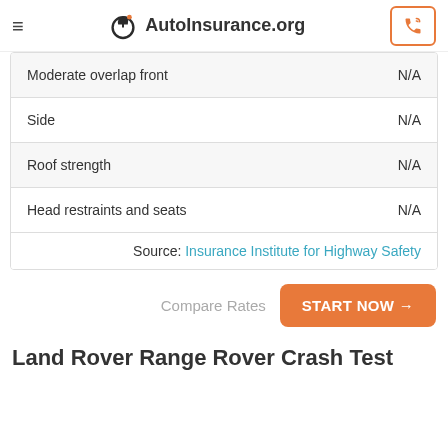AutoInsurance.org
| Moderate overlap front | N/A |
| Side | N/A |
| Roof strength | N/A |
| Head restraints and seats | N/A |
| Source: Insurance Institute for Highway Safety |  |
Compare Rates  START NOW →
Land Rover Range Rover Crash Test